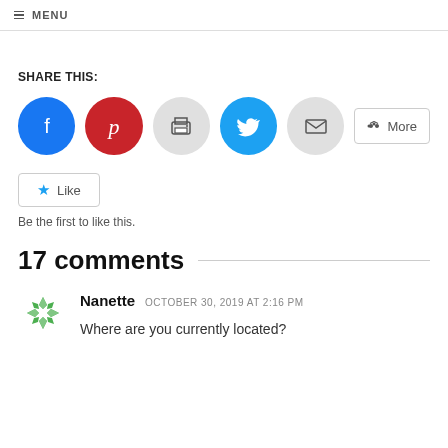MENU
SHARE THIS:
[Figure (infographic): Social sharing buttons: Facebook (blue circle), Pinterest (red circle), Print (grey circle), Twitter (light blue circle), Email (grey circle), and a More button]
[Figure (infographic): Like button with a blue star icon and 'Like' text]
Be the first to like this.
17 comments
[Figure (logo): Green and white snowflake/pinwheel avatar for user Nanette]
Nanette   OCTOBER 30, 2019 AT 2:16 PM
Where are you currently located?